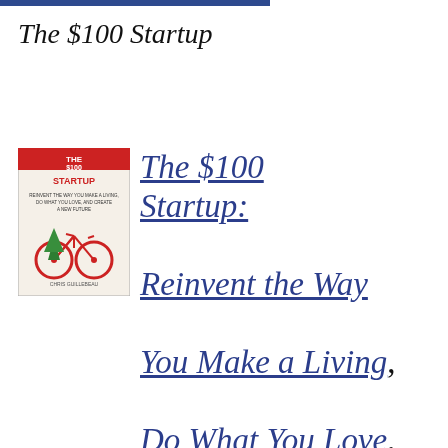The $100 Startup
[Figure (illustration): Book cover of The $100 Startup by Chris Guillebeau, showing a red bicycle with a Christmas tree on the back]
The $100 Startup: Reinvent the Way You Make a Living, Do What You Love, and Create a New Future, by Chris Guillebeau